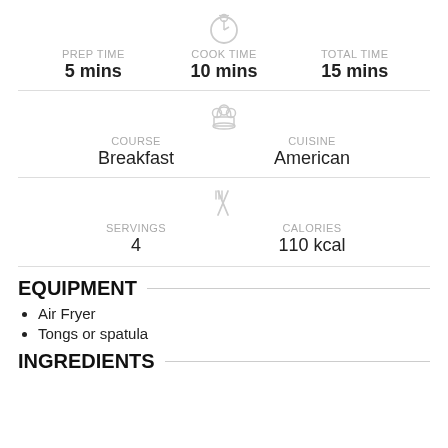PREP TIME: 5 mins | COOK TIME: 10 mins | TOTAL TIME: 15 mins
COURSE: Breakfast | CUISINE: American
SERVINGS: 4 | CALORIES: 110 kcal
EQUIPMENT
Air Fryer
Tongs or spatula
INGREDIENTS